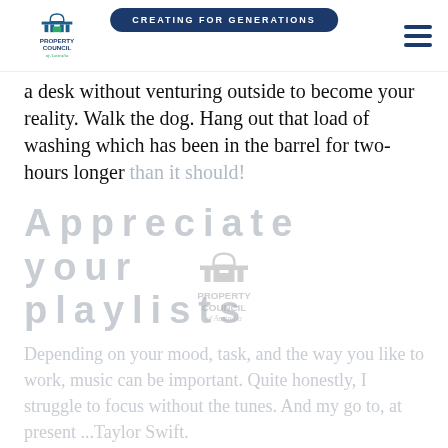CREATING FOR GENERATIONS | Property Council of Australia
a desk without venturing outside to become your reality. Walk the dog. Hang out that load of washing which has been in the barrel for two-hours longer than it should!
Appreciate your playlists
[Figure (logo): Property Council of Australia watermark logo]
Depending on your mood, task, and the way you like to work, music can be important. Quite honestly, I struggle to focus without the tunes. And my go to, at present ...Taylor Swift.